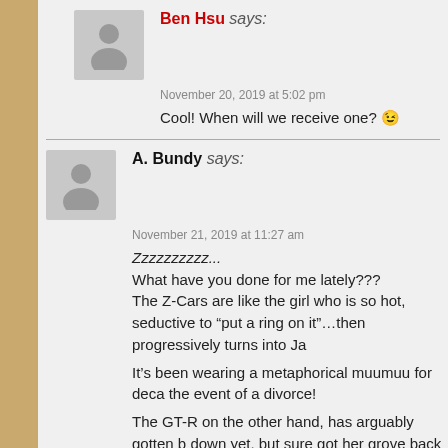Ben Hsu says:
November 20, 2019 at 5:02 pm
Cool! When will we receive one? 😉
A. Bundy says:
November 21, 2019 at 11:27 am
Zzzzzzzzzz...
What have you done for me lately???
The Z-Cars are like the girl who is so hot, seductive to "put a ring on it"...then progressively turns into Ja

It's been wearing a metaphorical muumuu for deca the event of a divorce!

The GT-R on the other hand, has arguably gotten b down yet, but sure got her grove back during that fl
XRaider says:
November 21, 2019 at 6:53 pm